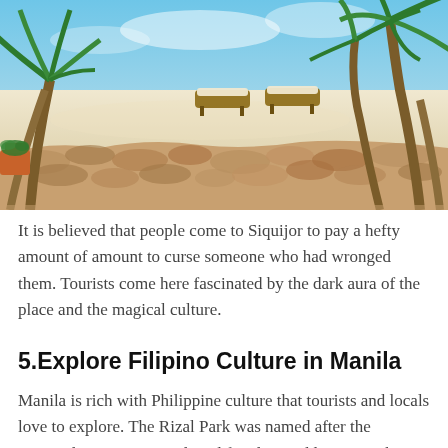[Figure (photo): Tropical beach scene with lounge chairs, white sand, a stone wall boundary, and palm trees under a blue sky.]
It is believed that people come to Siquijor to pay a hefty amount of amount to curse someone who had wronged them. Tourists come here fascinated by the dark aura of the place and the magical culture.
5.Explore Filipino Culture in Manila
Manila is rich with Philippine culture that tourists and locals love to explore. The Rizal Park was named after the National Hero Jose Rizal, and families and lovers go there to have a picnic or bond. The Ayala Museum offers exhibits of the Filipino history, as well